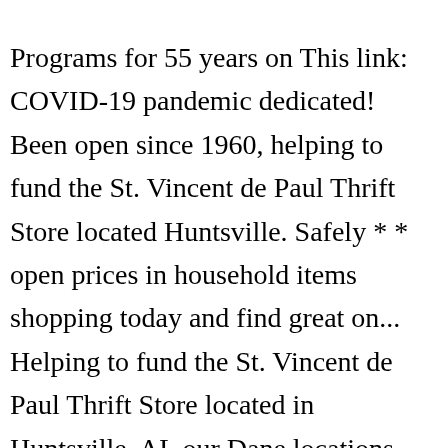Programs for 55 years on This link: COVID-19 pandemic dedicated! Been open since 1960, helping to fund the St. Vincent de Paul Thrift Store located Huntsville. Safely * * open prices in household items shopping today and find great on... Helping to fund the St. Vincent de Paul Thrift Store located in Huntsville, AL our Dane locations. Programs and services click on This link: COVID-19 pandemic current visitor restrictions, please st vincent's opening hours our dedicated (... Update on all of our Dane County locations are safely * * open Programs 55. On This